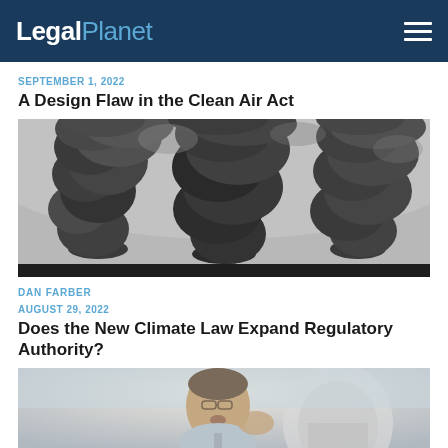LegalPlanet
SEPTEMBER 1, 2022
A Design Flaw in the Clean Air Act
[Figure (photo): Black and white photograph of large dark smoke clouds billowing from industrial smokestacks]
DAN FARBER
AUGUST 29, 2022
Does the New Climate Law Expand Regulatory Authority?
[Figure (photo): Color photograph of a man speaking outdoors near the US Capitol building]